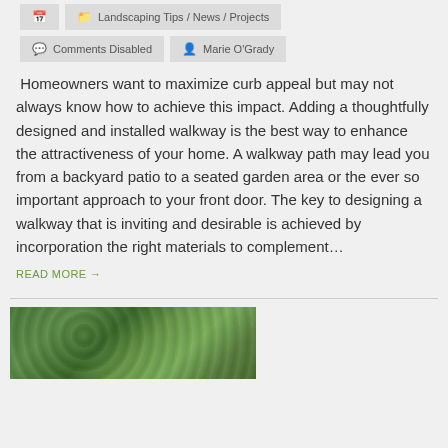🗓  Landscaping Tips / News / Projects
💬  Comments Disabled    👤  Marie O'Grady
Homeowners want to maximize curb appeal but may not always know how to achieve this impact. Adding a thoughtfully designed and installed walkway is the best way to enhance the attractiveness of your home. A walkway path may lead you from a backyard patio to a seated garden area or the ever so important approach to your front door. The key to designing a walkway that is inviting and desirable is achieved by incorporation the right materials to complement…
READ MORE →
[Figure (photo): Photograph of green leafy plants/shrubs, partially visible at bottom of page]